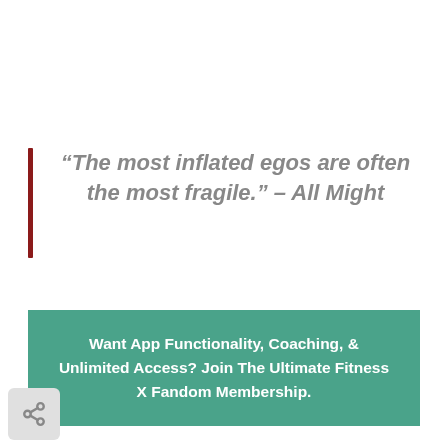“The most inflated egos are often the most fragile.” – All Might
Want App Functionality, Coaching, & Unlimited Access? Join The Ultimate Fitness X Fandom Membership.